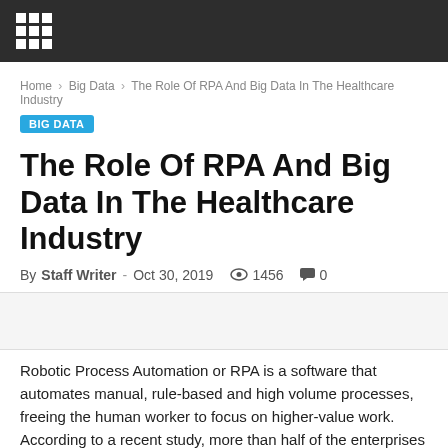Home › Big Data › The Role Of RPA And Big Data In The Healthcare Industry
BIG DATA
The Role Of RPA And Big Data In The Healthcare Industry
By Staff Writer - Oct 30, 2019  1456   0
[Figure (photo): Article featured image placeholder area]
Robotic Process Automation or RPA is a software that automates manual, rule-based and high volume processes, freeing the human worker to focus on higher-value work. According to a recent study, more than half of the enterprises working across industries have already started their automation journey. There are students opting for a Data Engineering course so that they can easily move forward with their career aspirations.